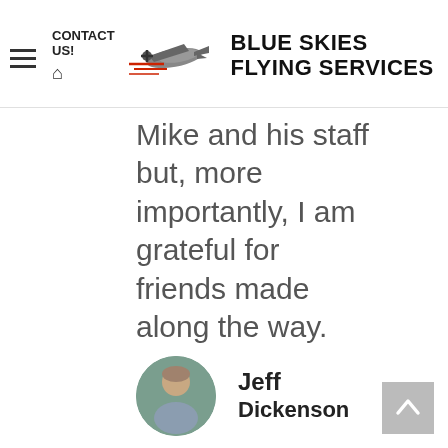CONTACT US! [home icon] [Blue Skies Flying Services logo]
Mike and his staff but, more importantly, I am grateful for friends made along the way. Thank you to the entire Blue Skies team for making it possible for my childhood dream to take flight!
[Figure (photo): Circular profile photo of Jeff Dickenson]
Jeff
Dickenson